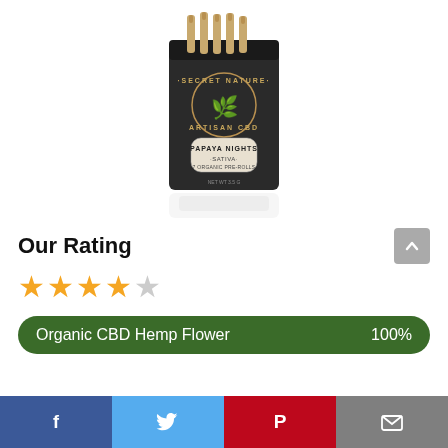[Figure (photo): Secret Nature Artisan CBD product box (Papaya Nights Sativa pre-rolls) standing upright, black packaging with gold logo, pre-rolls visible at top, with reflection below]
Our Rating
★★★★☆ (4 out of 5 stars)
Organic CBD Hemp Flower 100%